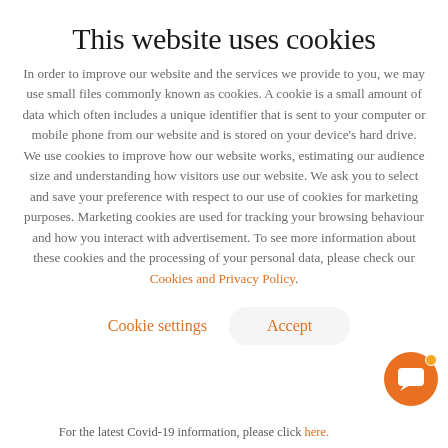This website uses cookies
In order to improve our website and the services we provide to you, we may use small files commonly known as cookies. A cookie is a small amount of data which often includes a unique identifier that is sent to your computer or mobile phone from our website and is stored on your device's hard drive. We use cookies to improve how our website works, estimating our audience size and understanding how visitors use our website. We ask you to select and save your preference with respect to our use of cookies for marketing purposes. Marketing cookies are used for tracking your browsing behaviour and how you interact with advertisement. To see more information about these cookies and the processing of your personal data, please check our Cookies and Privacy Policy.
Cookie settings
Accept
[Figure (illustration): Orange circular chat bubble icon with a white speech bubble symbol and a small notification dot in the upper right]
For the latest Covid-19 information, please click here.